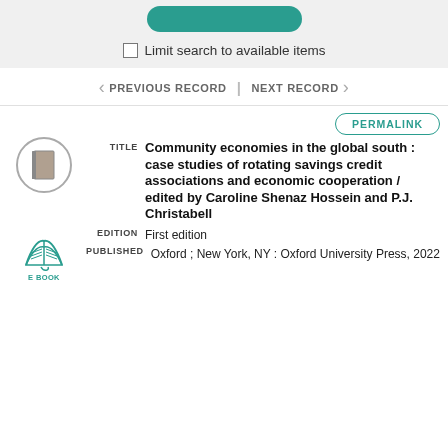[Figure (screenshot): Top bar with green search button and 'Limit search to available items' checkbox]
Limit search to available items
< PREVIOUS RECORD | NEXT RECORD >
PERMALINK
[Figure (illustration): Book icon in gray circle and E BOOK icon in teal]
Community economies in the global south : case studies of rotating savings credit associations and economic cooperation / edited by Caroline Shenaz Hossein and P.J. Christabell
EDITION   First edition
PUBLISHED   Oxford ; New York, NY : Oxford University Press, 2022